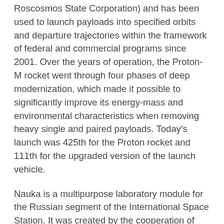Roscosmos State Corporation) and has been used to launch payloads into specified orbits and departure trajectories within the framework of federal and commercial programs since 2001. Over the years of operation, the Proton-M rocket went through four phases of deep modernization, which made it possible to significantly improve its energy-mass and environmental characteristics when removing heavy single and paired payloads. Today's launch was 425th for the Proton rocket and 111th for the upgraded version of the launch vehicle.
Nauka is a multipurpose laboratory module for the Russian segment of the International Space Station. It was created by the cooperation of enterprises in order to implement the program of scientific experiments and expand the functionality of the Russian segment of the ISS. After its commissioning, the Russian segment will receive additional volumes for the arrangement of workplaces and storage of goods, placement of equipment for the regeneration of water and oxygen.